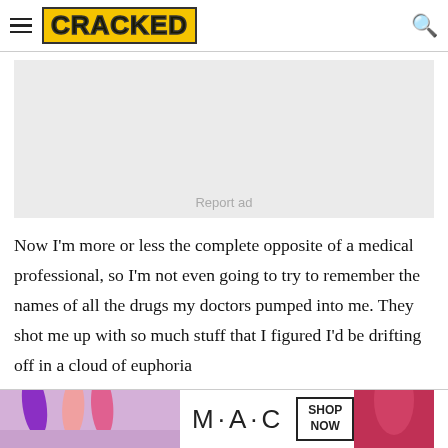CRACKED
[Figure (other): Advertisement placeholder block with light gray background and 'Report ad' text]
Now I'm more or less the complete opposite of a medical professional, so I'm not even going to try to remember the names of all the drugs my doctors pumped into me. They shot me up with so much stuff that I figured I'd be drifting off in a cloud of euphoria
[Figure (other): MAC cosmetics advertisement banner at bottom showing lipsticks and 'SHOP NOW' button]